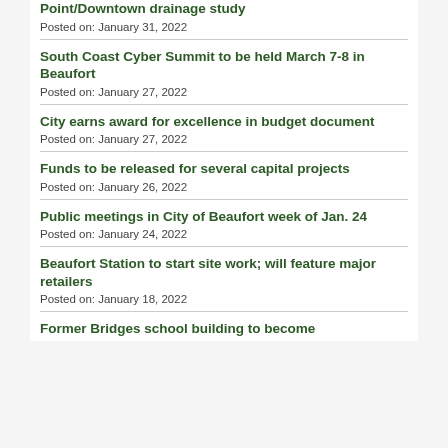Point/Downtown drainage study
Posted on: January 31, 2022
South Coast Cyber Summit to be held March 7-8 in Beaufort
Posted on: January 27, 2022
City earns award for excellence in budget document
Posted on: January 27, 2022
Funds to be released for several capital projects
Posted on: January 26, 2022
Public meetings in City of Beaufort week of Jan. 24
Posted on: January 24, 2022
Beaufort Station to start site work; will feature major retailers
Posted on: January 18, 2022
Former Bridges school building to become